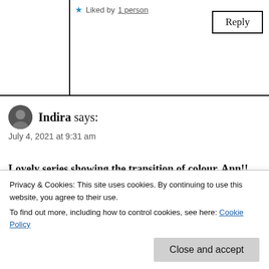Liked by 1 person
Reply
Indira says:
July 4, 2021 at 9:31 am
Lovely series showing the transition of colour, Ann!!
Liked by 1 person
Reply
Privacy & Cookies: This site uses cookies. By continuing to use this website, you agree to their use. To find out more, including how to control cookies, see here: Cookie Policy
Close and accept